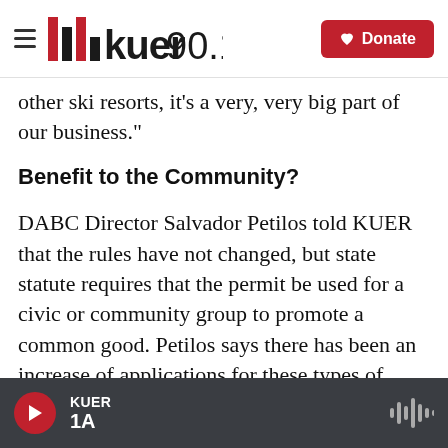KUER 90.1 — Donate
other ski resorts, it's a very, very big part of our business."
Benefit to the Community?
DABC Director Salvador Petilos told KUER that the rules have not changed, but state statute requires that the permit be used for a civic or community group to promote a common good. Petilos says there has been an increase of applications for these types of permits from for-profit businesses.  He and the Commission want to make sure that they are following the statute consistently. Penar is trying to make
KUER 1A — audio player bar